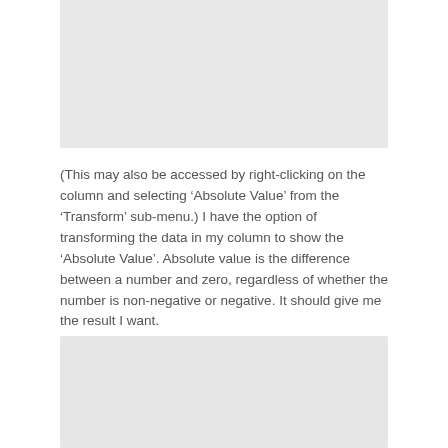[Figure (screenshot): Screenshot placeholder at top of page]
(This may also be accessed by right-clicking on the column and selecting ‘Absolute Value’ from the ‘Transform’ sub-menu.) I have the option of transforming the data in my column to show the ‘Absolute Value’. Absolute value is the difference between a number and zero, regardless of whether the number is non-negative or negative. It should give me the result I want.
[Figure (screenshot): Screenshot placeholder at bottom of page]